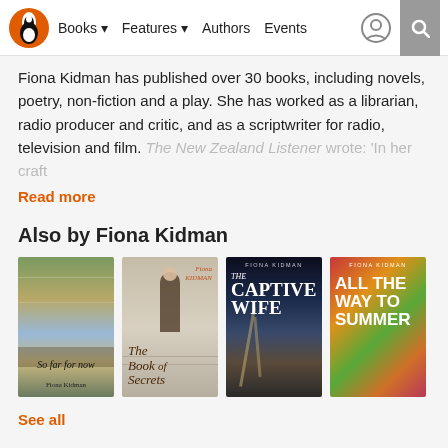Books | Features | Authors | Events
Fiona Kidman has published over 30 books, including novels, poetry, non-fiction and a play. She has worked as a librarian, radio producer and critic, and as a scriptwriter for radio, television and film. The New Zealand Listener wrote: 'In her craft
Read more
Also by Fiona Kidman
[Figure (illustration): Book cover: So far for now by Fiona Kidman]
[Figure (illustration): Book cover: The Book of Secrets by Fiona Kidman]
[Figure (illustration): Book cover: The Captive Wife by Fiona Kidman]
[Figure (illustration): Book cover: All the Way to Summer by Fiona Kidman]
See all